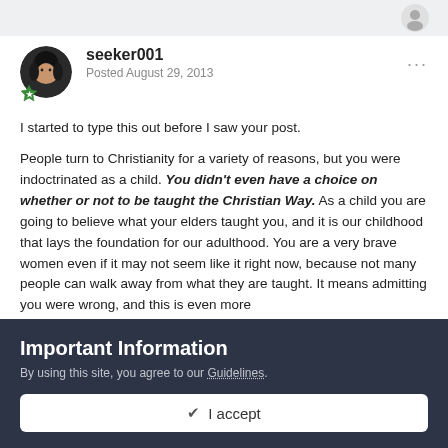seeker001
Posted August 29, 2013
I started to type this out before I saw your post.
People turn to Christianity for a variety of reasons, but you were indoctrinated as a child. You didn't even have a choice on whether or not to be taught the Christian Way. As a child you are going to believe what your elders taught you, and it is our childhood that lays the foundation for our adulthood. You are a very brave women even if it may not seem like it right now, because not many people can walk away from what they are taught. It means admitting you were wrong, and this is even more
Important Information
By using this site, you agree to our Guidelines.
✓ I accept